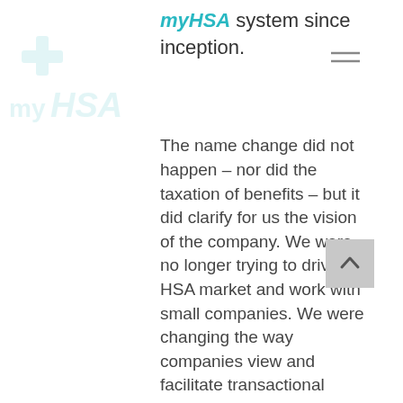myHSA system since inception.
The name change did not happen – nor did the taxation of benefits – but it did clarify for us the vision of the company. We were no longer trying to drive the HSA market and work with small companies. We were changing the way companies view and facilitate transactional benefits (meaning benefits that are known expenses rather than sudden and catastrophic in nature).
The vision of myHSA went from a way to help small businesses with medical costs to a bigger mission of digitizing Insurance Advisors and